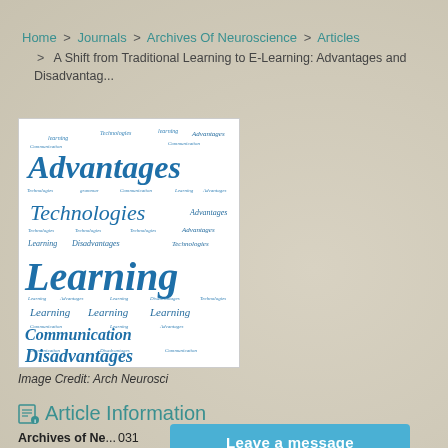Home > Journals > Archives Of Neuroscience > Articles > A Shift from Traditional Learning to E-Learning: Advantages and Disadvantag...
[Figure (illustration): Word cloud image featuring blue text with words: Advantages, Technologies, Learning, Communication, Disadvantages, in varying sizes on white background]
Image Credit: Arch Neurosci
Article Information
Archives of Ne... 031
Published Onli...